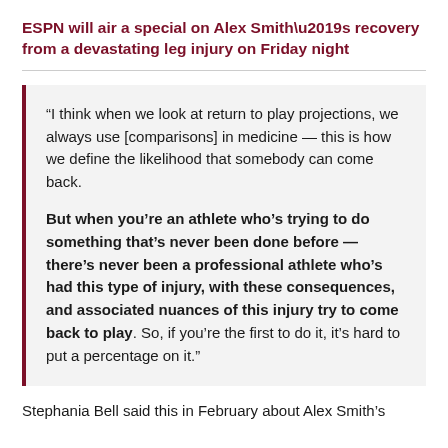ESPN will air a special on Alex Smith's recovery from a devastating leg injury on Friday night
“I think when we look at return to play projections, we always use [comparisons] in medicine — this is how we define the likelihood that somebody can come back.

But when you’re an athlete who’s trying to do something that’s never been done before — there’s never been a professional athlete who’s had this type of injury, with these consequences, and associated nuances of this injury try to come back to play. So, if you’re the first to do it, it’s hard to put a percentage on it.”
Stephania Bell said this in February about Alex Smith’s